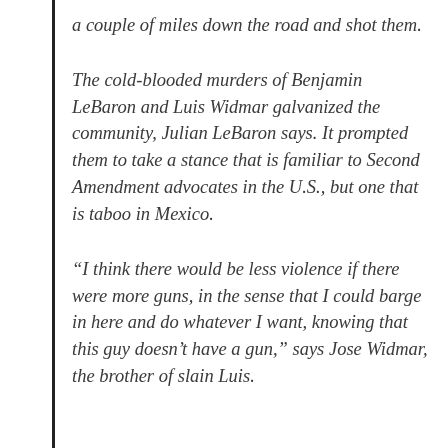a couple of miles down the road and shot them.
The cold-blooded murders of Benjamin LeBaron and Luis Widmar galvanized the community, Julian LeBaron says. It prompted them to take a stance that is familiar to Second Amendment advocates in the U.S., but one that is taboo in Mexico.
“I think there would be less violence if there were more guns, in the sense that I could barge in here and do whatever I want, knowing that this guy doesn’t have a gun,” says Jose Widmar, the brother of slain Luis.